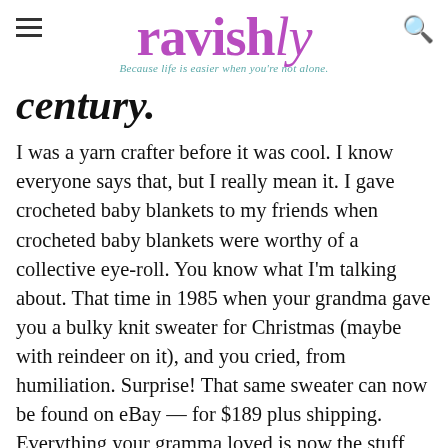ravishly — Because life is easier when you're not alone.
century.
I was a yarn crafter before it was cool. I know everyone says that, but I really mean it. I gave crocheted baby blankets to my friends when crocheted baby blankets were worthy of a collective eye-roll. You know what I'm talking about. That time in 1985 when your grandma gave you a bulky knit sweater for Christmas (maybe with reindeer on it), and you cried, from humiliation. Surprise! That same sweater can now be found on eBay — for $189 plus shipping. Everything your gramma loved is now the stuff you can only hope to thrift.